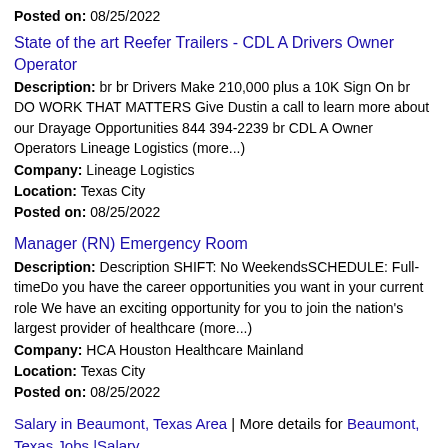Posted on: 08/25/2022
State of the art Reefer Trailers - CDL A Drivers Owner Operator
Description: br br Drivers Make 210,000 plus a 10K Sign On br DO WORK THAT MATTERS Give Dustin a call to learn more about our Drayage Opportunities 844 394-2239 br CDL A Owner Operators Lineage Logistics (more...)
Company: Lineage Logistics
Location: Texas City
Posted on: 08/25/2022
Manager (RN) Emergency Room
Description: Description SHIFT: No WeekendsSCHEDULE: Full-timeDo you have the career opportunities you want in your current role We have an exciting opportunity for you to join the nation's largest provider of healthcare (more...)
Company: HCA Houston Healthcare Mainland
Location: Texas City
Posted on: 08/25/2022
Salary in Beaumont, Texas Area | More details for Beaumont, Texas Jobs |Salary